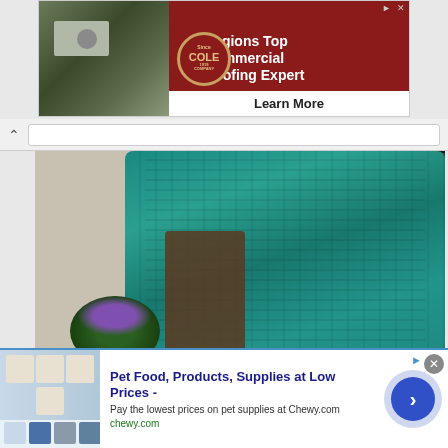[Figure (screenshot): Top banner advertisement for Cole Roofing Company featuring aerial photo of commercial building on left, circular COLE ROOFING COMPANY logo, dark red background with text 'Regions Top Commercial Roofing Expert' and 'Learn More' button]
[Figure (photo): Photo of a teal/turquoise cable-knit blanket draped over a wooden chair, with a flowering violet plant on a small table to the left, and a bookshelf visible on the right]
[Figure (screenshot): Bottom banner advertisement for Chewy.com pet supplies showing product images on left, text reading 'Pet Food, Products, Supplies at Low Prices -', 'Pay the lowest prices on pet supplies at Chewy.com', 'chewy.com', with a blue circular arrow button on right and close X button]